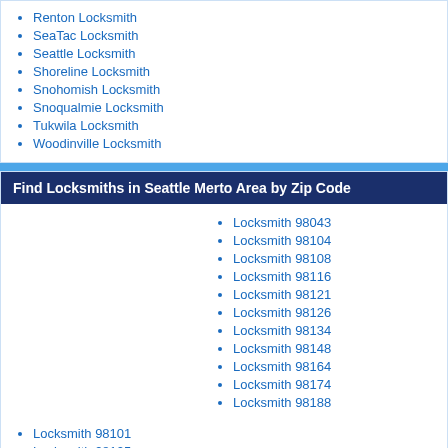Renton Locksmith
SeaTac Locksmith
Seattle Locksmith
Shoreline Locksmith
Snohomish Locksmith
Snoqualmie Locksmith
Tukwila Locksmith
Woodinville Locksmith
Find Locksmiths in Seattle Merto Area by Zip Code
Locksmith 98043
Locksmith 98104
Locksmith 98108
Locksmith 98116
Locksmith 98121
Locksmith 98126
Locksmith 98134
Locksmith 98148
Locksmith 98164
Locksmith 98174
Locksmith 98188
Locksmith 98101
Locksmith 98105
Locksmith 98109